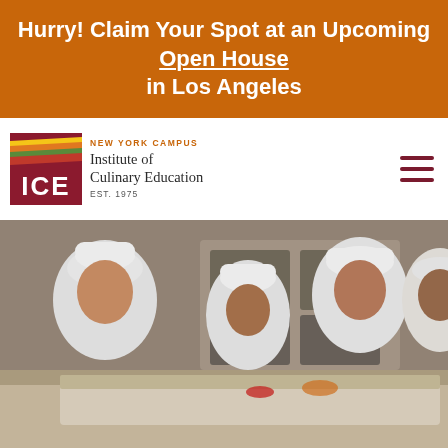Hurry! Claim Your Spot at an Upcoming Open House in Los Angeles
[Figure (logo): Institute of Culinary Education (ICE) logo with colorful layered landscape graphic and text. NEW YORK CAMPUS label above. EST. 1975 below.]
[Figure (photo): Culinary students in white chef uniforms and hats working in a professional kitchen, smiling and preparing food.]
GET INFO
CALL
APPLY